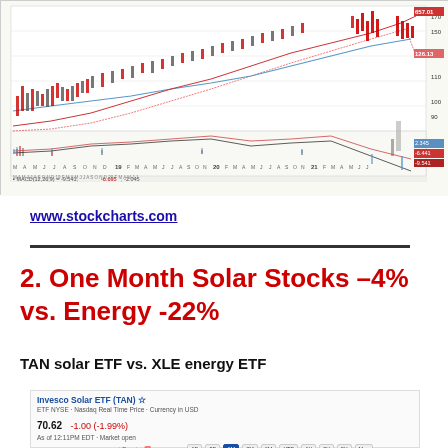[Figure (continuous-plot): Multi-year stock price chart with candlesticks, moving averages (blue and red lines), volume bars at bottom, and MACD indicator panel below. X-axis shows months from M through J spanning multiple years (19, 20, 21). Y-axis shows price levels from ~80 to 170. MACD(12,26,9) = -9.541, -6.695, -2.045. Price label shows 657.01 and 126.13.]
www.stockcharts.com
2. One Month Solar Stocks –4% vs. Energy -22%
TAN solar ETF vs. XLE energy ETF
[Figure (screenshot): Invesco Solar ETF (TAN) stock chart widget showing price 70.62, change -1.00 (-1.99%), date range selector with 1D, 5D, 1M, 3M, 6M, YTD, 1Y, 2Y, 5Y, Max options]